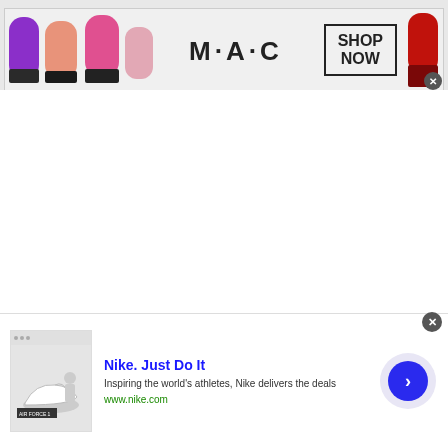[Figure (illustration): MAC Cosmetics advertisement banner showing three lipsticks (purple, pink/nude, hot pink) on the left, MAC logo in center, 'SHOP NOW' box on right, and red lipstick on far right. Close button at bottom right corner.]
[Figure (illustration): Nike advertisement banner at bottom of page. Shows Nike Air Force 1 sneaker image thumbnail on left, 'Nike. Just Do It' headline in blue, 'Inspiring the world's athletes, Nike delivers the deals' description, 'www.nike.com' URL in green, and a circular blue arrow button on right. Close button and ad indicator triangle at top.]